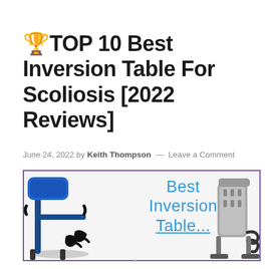🏆TOP 10 Best Inversion Table For Scoliosis [2022 Reviews]
June 24, 2022 by Keith Thompson — Leave a Comment
[Figure (photo): Banner image showing two inversion tables (one blue/black on the left, one grey on the right) with cursive blue text in the center reading 'Best Inversion Table...' inside a purple-bordered rectangle]